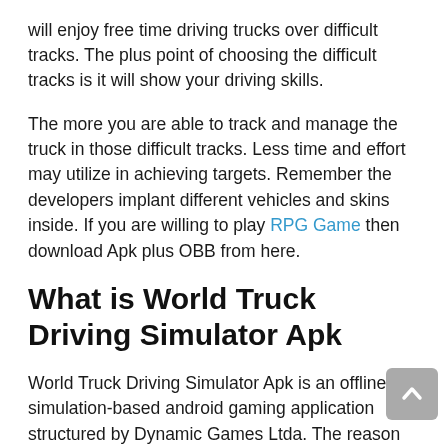will enjoy free time driving trucks over difficult tracks. The plus point of choosing the difficult tracks is it will show your driving skills.
The more you are able to track and manage the truck in those difficult tracks. Less time and effort may utilize in achieving targets. Remember the developers implant different vehicles and skins inside. If you are willing to play RPG Game then download Apk plus OBB from here.
What is World Truck Driving Simulator Apk
World Truck Driving Simulator Apk is an offline simulation-based android gaming application structured by Dynamic Games Ltda. The reason for offering this new best alternative gameplay. Is to provide a stable version.